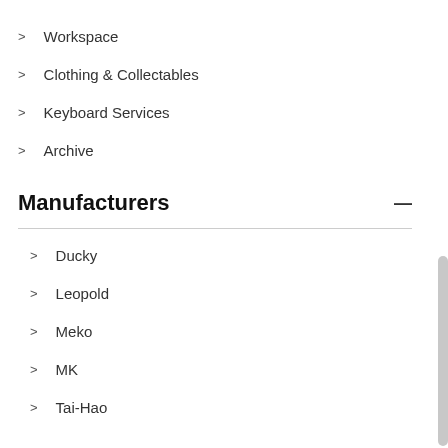Workspace
Clothing & Collectables
Keyboard Services
Archive
Manufacturers
Ducky
Leopold
Meko
MK
Tai-Hao